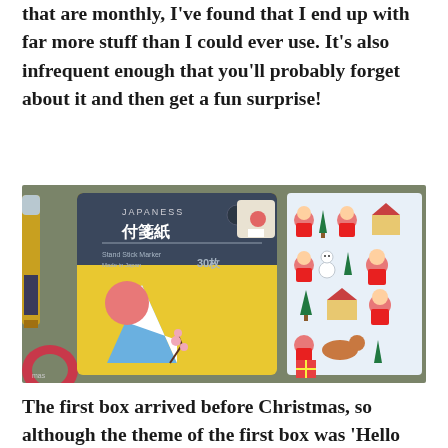that are monthly, I've found that I end up with far more stuff than I could ever use. It's also infrequent enough that you'll probably forget about it and then get a fun surprise!
[Figure (photo): Photo of Japanese stationery subscription box contents on a dark olive/grey surface: a Mount Fuji shaped sticky note pad in yellow packaging (付箋紙, 30 sheets, Made in Japan), Christmas-themed sticker sheet with Santas and trees, a gold marker pen, and a round washi tape roll.]
The first box arrived before Christmas, so although the theme of the first box was 'Hello Japan!', there